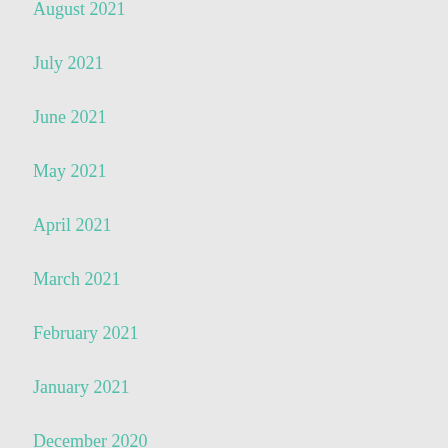August 2021
July 2021
June 2021
May 2021
April 2021
March 2021
February 2021
January 2021
December 2020